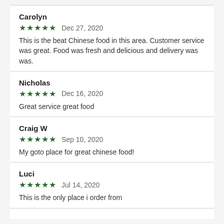Carolyn
★★★★★  Dec 27, 2020
This is the beat Chinese food in this area. Customer service was great. Food was fresh and delicious and delivery was was.
Nicholas
★★★★★  Dec 16, 2020
Great service great food
Craig W
★★★★★  Sep 10, 2020
My goto place for great chinese food!
Luci
★★★★★  Jul 14, 2020
This is the only place i order from